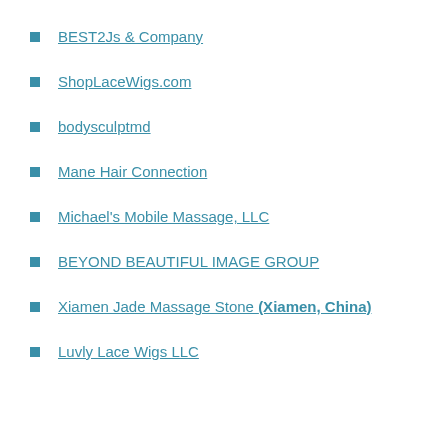BEST2Js & Company
ShopLaceWigs.com
bodysculptmd
Mane Hair Connection
Michael's Mobile Massage, LLC
BEYOND BEAUTIFUL IMAGE GROUP
Xiamen Jade Massage Stone (Xiamen, China)
Luvly Lace Wigs LLC